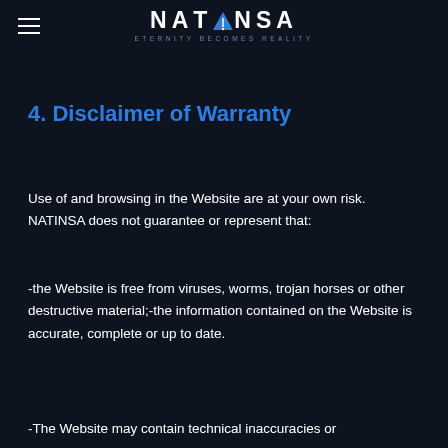[Figure (logo): NATINSA logo with triangle icon and tagline ETERNITY BECOMES REALITY]
4. Disclaimer of Warranty
Use of and browsing in the Website are at your own risk.  NATINSA does not guarantee or represent that:
-the Website is free from viruses, worms, trojan horses or other destructive material;-the information contained on the Website is accurate, complete or up to date.
-The Website may contain technical inaccuracies or